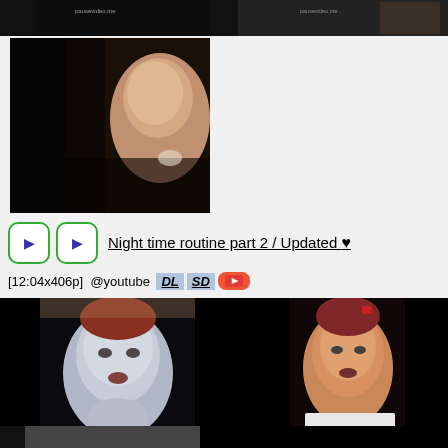[Figure (screenshot): Dark video thumbnail strip at top with watermark text 'pausevideo.me']
[Figure (screenshot): Large video thumbnail on left showing blurry person/face, dark tones]
Night time routine part 2 / Updated ♥
[12:04x406p]  @youtube DL SD [YouTube button]
[Figure (screenshot): Video thumbnail strip at bottom showing two children's faces on black background]